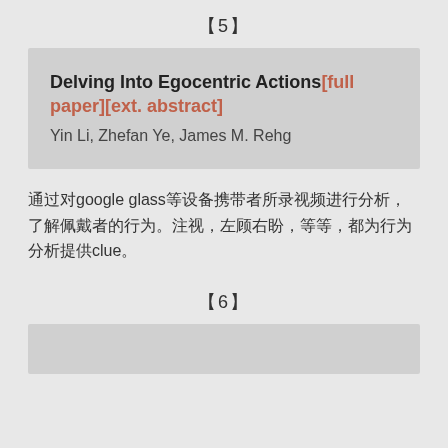【5】
Delving Into Egocentric Actions[full paper][ext. abstract]
Yin Li, Zhefan Ye, James M. Rehg
通过对google glass等设备携带者所录视频进行分析，了解佩戴者的行为。注视，左顾右盼，等等，都为行为分析提供clue。
【6】